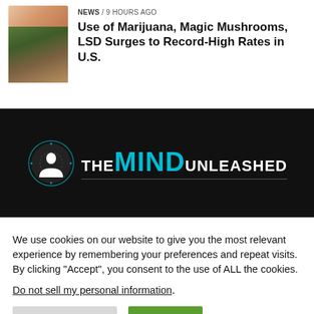[Figure (photo): Thumbnail collage: top portion shows a hand/skin, bottom shows marijuana buds and mushrooms on a plate]
NEWS / 9 hours ago
Use of Marijuana, Magic Mushrooms, LSD Surges to Record-High Rates in U.S.
[Figure (logo): The Mind Unleashed logo: circular icon with person silhouette on dark dotted background with cyan ring, followed by wordmark THE MIND UNLEASHED where MIND is in cyan and rest in white]
We use cookies on our website to give you the most relevant experience by remembering your preferences and repeat visits. By clicking “Accept”, you consent to the use of ALL the cookies.
Do not sell my personal information.
Cookie Settings
Accept